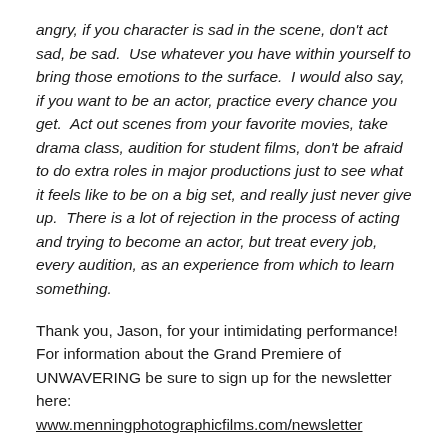angry, if you character is sad in the scene, don't act sad, be sad.  Use whatever you have within yourself to bring those emotions to the surface.  I would also say, if you want to be an actor, practice every chance you get.  Act out scenes from your favorite movies, take drama class, audition for student films, don't be afraid to do extra roles in major productions just to see what it feels like to be on a big set, and really just never give up.  There is a lot of rejection in the process of acting and trying to become an actor, but treat every job, every audition, as an experience from which to learn something.
Thank you, Jason, for your intimidating performance! For information about the Grand Premiere of UNWAVERING be sure to sign up for the newsletter here: www.menningphotographicfilms.com/newsletter